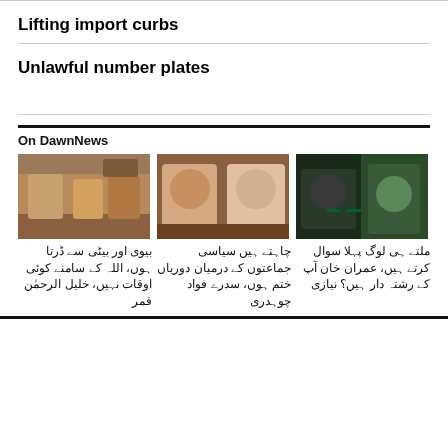Lifting import curbs
Unlawful number plates
On DawnNews
[Figure (photo): Three news thumbnails side by side: (1) group of people sitting in a living room, (2) two men speaking at a press conference, (3) Imran Khan and a young woman standing outdoors]
بیوی اور بیٹی سے ڈرتا ہوں، اللہ کے سامنے کوئی اوقات نہیں، خلیل الرحمٰن قمر
چاہتے ہیں سیاسی جماعتوں کے درمیان دوریاں ختم ہوں، سدرے فواد چوہدری
ملتے ہی لوگ پہلا سوال کرتے ہیں، عمران خان آپ کے رشتہ دار ہیں؟ نیازی